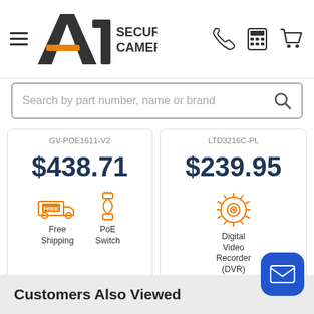[Figure (logo): A1 Security Cameras logo with hamburger menu icon, phone, calculator, and cart icons in header]
Search by part number, name or brand
GV-POE1611-V2
$438.71
[Figure (illustration): Orange free shipping truck icon]
[Figure (illustration): Orange PoE Switch cable connector icon]
Free Shipping
PoE Switch
LTD3216C-PL
$239.95
[Figure (illustration): Orange digital video recorder (DVR) chip icon]
Digital Video Recorder (DVR)
Customers Also Viewed